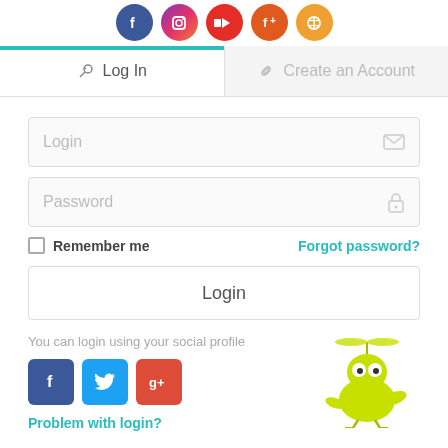[Figure (illustration): Row of social media icon circles (Facebook, Instagram, YouTube, orange icons) partially visible at top]
[Figure (screenshot): Two-tab navigation bar: 'Log In' (active, with key icon) and 'Create an Account' (inactive, with link icon), separated by a teal horizontal line]
[Figure (screenshot): Login form with Login input field (email icon), Password input field (lock icon), Remember me checkbox, Forgot password? link, and Login button]
You can login using your social profile
[Figure (illustration): Three social login buttons: Facebook (f), Twitter (bird), Google+ (g+)]
[Figure (illustration): Lime green bird/helicopter mascot illustration]
Problem with login?